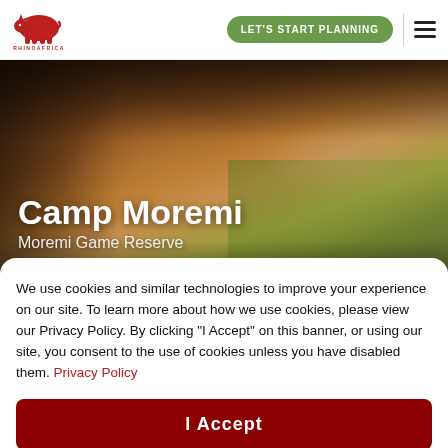[Figure (logo): RhinoAfrica.com red rhino logo]
LET'S START PLANNING
[Figure (photo): Interior of a luxury safari lodge tent at Camp Moremi, Moremi Game Reserve, with thatched roof, canopy bed, wooden deck, and savanna view]
Camp Moremi
Moremi Game Reserve
We use cookies and similar technologies to improve your experience on our site. To learn more about how we use cookies, please view our Privacy Policy. By clicking "I Accept" on this banner, or using our site, you consent to the use of cookies unless you have disabled them. Privacy Policy
I Accept
authentic safari experience in the heart of the Moremi